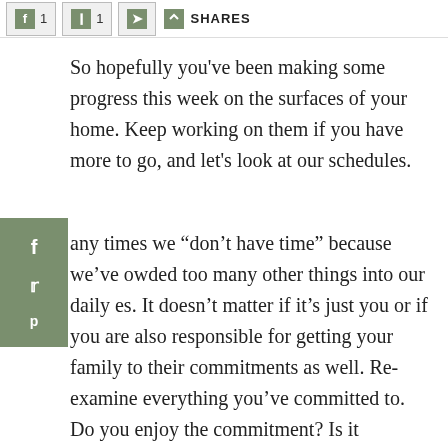f 1  [pinterest] 1  [twitter]  SHARES
So hopefully you’ve been making some progress this week on the surfaces of your home. Keep working on them if you have more to go, and let’s look at our schedules.
any times we “don’t have time” because we’ve owded too many other things into our daily es. It doesn’t matter if it’s just you or if you are also responsible for getting your family to their commitments as well. Re-examine everything you’ve committed to. Do you enjoy the commitment? Is it fulfilling for you? How many things are you committed to? Is it appropriate for the season of life you’re in right now? Ho...